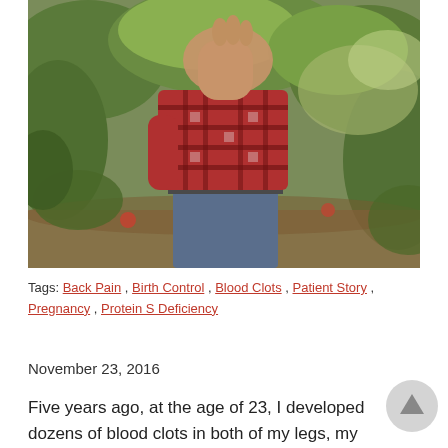[Figure (photo): Person in a red plaid flannel shirt and jeans standing outdoors among green leafy trees and shrubs, with face/head obscured by their raised arm.]
Tags: Back Pain, Birth Control, Blood Clots, Patient Story, Pregnancy, Protein S Deficiency
November 23, 2016
Five years ago, at the age of 23, I developed dozens of blood clots in both of my legs, my pelvis,